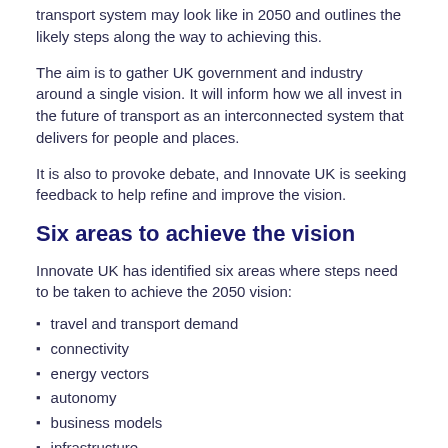transport system may look like in 2050 and outlines the likely steps along the way to achieving this.
The aim is to gather UK government and industry around a single vision. It will inform how we all invest in the future of transport as an interconnected system that delivers for people and places.
It is also to provoke debate, and Innovate UK is seeking feedback to help refine and improve the vision.
Six areas to achieve the vision
Innovate UK has identified six areas where steps need to be taken to achieve the 2050 vision:
travel and transport demand
connectivity
energy vectors
autonomy
business models
infrastructure.